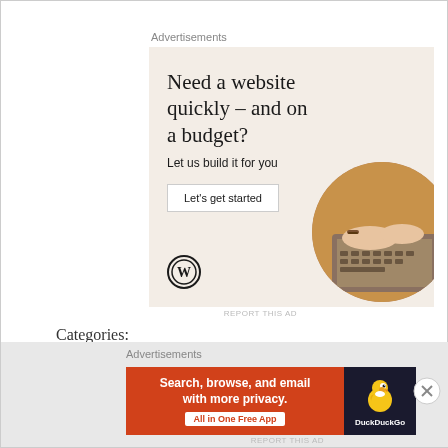Advertisements
[Figure (illustration): WordPress advertisement with beige background. Headline: 'Need a website quickly — and on a budget?' Subtext: 'Let us build it for you'. Button: 'Let's get started'. WordPress logo at bottom left. Circle-cropped photo of hands typing on laptop on right side.]
REPORT THIS AD
Categories:
MY MUSINGS
Advertisements
[Figure (illustration): DuckDuckGo advertisement banner. Orange left section with text 'Search, browse, and email with more privacy.' and 'All in One Free App' button. Dark right section with DuckDuckGo duck logo and 'DuckDuckGo' brand name.]
REPORT THIS AD